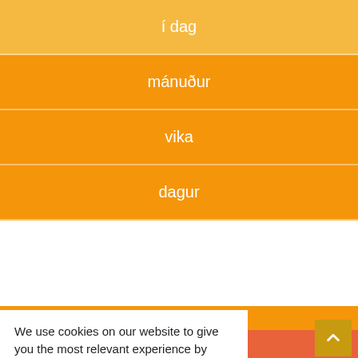í dag
mánuður
vika
dagur
We use cookies on our website to give you the most relevant experience by remembering your preferences and repeat visits. By clicking "Accept", you consent to the use of ALL the cookies.
Cookie settings
ACCEPT